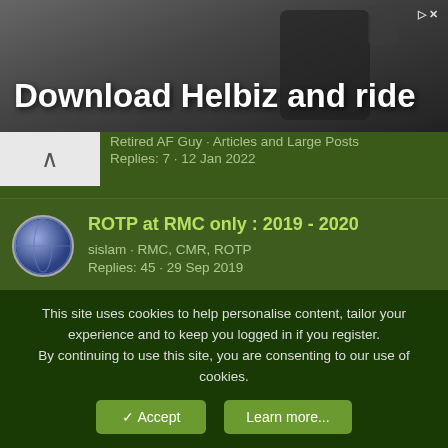[Figure (photo): Advertisement banner showing 'Download Helbiz and ride' with a dark background photo of a person on a scooter]
Retired AF Guy · Articles and Large Posts
Replies: 7 · 12 Jan 2022
ROTP at RMC only : 2019 - 2020
sislam · RMC, CMR, ROTP
Replies: 45 · 29 Sep 2019
Attempt at Boiling Down the Reg Force Application Process
Titicboom · The Recruiting Process
Replies: 0 · 28 Sep 2016
This site uses cookies to help personalise content, tailor your experience and to keep you logged in if you register.
By continuing to use this site, you are consenting to our use of cookies.